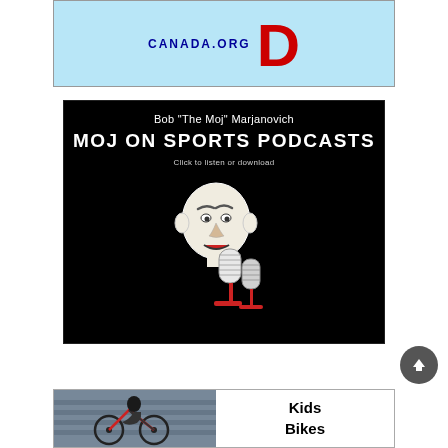[Figure (illustration): Banner ad showing 'CANADA.ORG' text and large red letter D on light blue background]
[Figure (illustration): Black background podcast banner for Bob "The Moj" Marjanovich - MOJ ON SPORTS PODCASTS, with cartoon illustration of bald man holding a microphone, text says Click to listen or download]
[Figure (illustration): Bottom advertisement banner with photo of person on bicycle on left side and 'Kids Bikes' text on white right side]